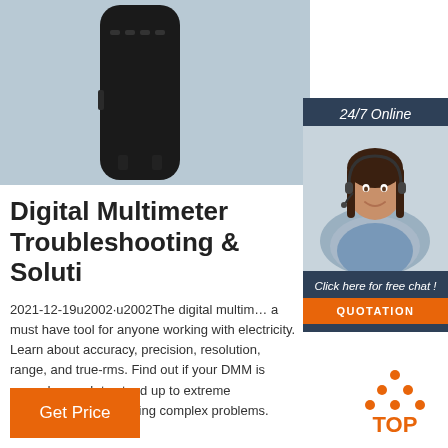[Figure (photo): Black digital multimeter device on light blue-grey background, close-up product photo]
[Figure (photo): 24/7 Online sidebar advertisement with woman wearing headset (customer support agent), smiling, with 'Click here for free chat!' text and orange QUOTATION button]
Digital Multimeter Troubleshooting & Soluti
2021-12-19u2002·u2002The digital multim… a must have tool for anyone working with electricity. Learn about accuracy, precision, resolution, range, and true-rms. Find out if your DMM is rugged enough to stand up to extreme temperatures and solving complex problems.
[Figure (logo): TOP badge logo with orange dots arranged in triangle above the word TOP in orange on white background]
Get Price